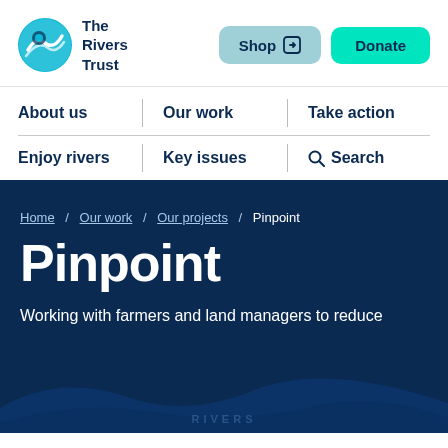[Figure (logo): The Rivers Trust logo with circular wave icon and text 'The Rivers Trust']
Shop  Donate
About us | Our work | Take action
Enjoy rivers | Key issues | Search
Home / Our work / Our projects / Pinpoint
Pinpoint
Working with farmers and land managers to reduce